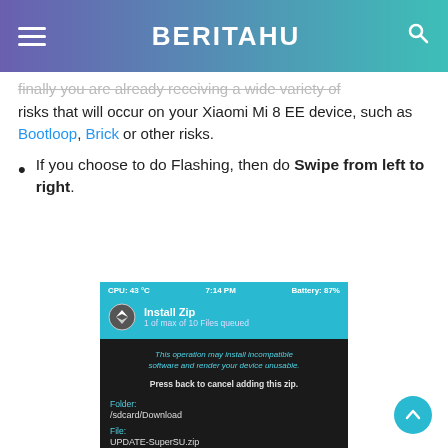BERITAHU
...finally you are already receiving a wide variety of risks that will occur on your Xiaomi Mi 8 EE device, such as Bootloop, Brick or other risks.
If you choose to do Flashing, then do Swipe from left to right.
[Figure (screenshot): Mobile screen showing TWRP/CWM Install Zip interface. Top bar shows CPU: 43°C, 7:14 PM, Battery: 87%. Title section shows CWM logo with Install Zip heading and '1 of max of 10 Files queued'. Body shows warning text 'This operation may install incompatible software and render your device unusable.' and 'Press back to cancel adding this zip.' Folder: /sdcard/Download, File: UPDATE-SuperSU.zip, Zip signature verification checkbox unchecked.]